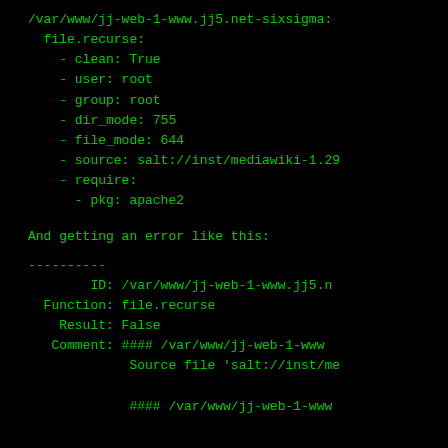/var/www/jj-web-1-www.jj5.net-sixsigma:
  file.recurse:
    - clean: True
    - user: root
    - group: root
    - dir_mode: 755
    - file_mode: 644
    - source: salt://inst/mediawiki-1.29
    - require:
      - pkg: apache2
And getting an error like this:
----------
        ID: /var/www/jj-web-1-www.jj5.n
  Function: file.recurse
    Result: False
   Comment: #### /var/www/jj-web-1-www
             Source file 'salt://inst/me

             #### /var/www/jj-web-1-www